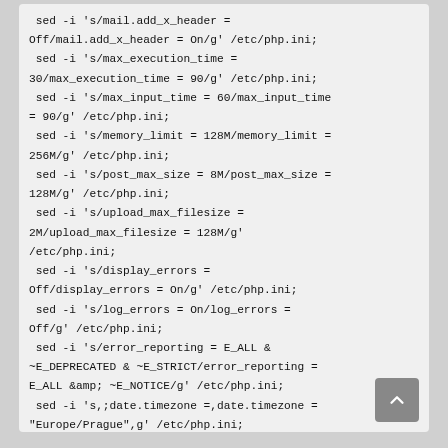sed -i 's/mail.add_x_header = Off/mail.add_x_header = On/g' /etc/php.ini;
 sed -i 's/max_execution_time = 30/max_execution_time = 90/g' /etc/php.ini;
 sed -i 's/max_input_time = 60/max_input_time = 90/g' /etc/php.ini;
 sed -i 's/memory_limit = 128M/memory_limit = 256M/g' /etc/php.ini;
 sed -i 's/post_max_size = 8M/post_max_size = 128M/g' /etc/php.ini;
 sed -i 's/upload_max_filesize = 2M/upload_max_filesize = 128M/g' /etc/php.ini;
 sed -i 's/display_errors = Off/display_errors = On/g' /etc/php.ini;
 sed -i 's/log_errors = On/log_errors = Off/g' /etc/php.ini;
 sed -i 's/error_reporting = E_ALL & ~E_DEPRECATED & ~E_STRICT/error_reporting = E_ALL &amp; ~E_NOTICE/g' /etc/php.ini;
 sed -i 's,;date.timezone =,date.timezone = "Europe/Prague",g' /etc/php.ini;
 sed -i 's/short_open_tag = Off/short_open_tag = On/g' /etc/php.ini;